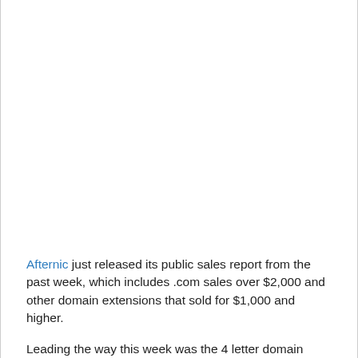Afternic just released its public sales report from the past week, which includes .com sales over $2,000 and other domain extensions that sold for $1,000 and higher.
Leading the way this week was the 4 letter domain name, EUNO.com, which sold for $20,000. It looks like Euno.com will